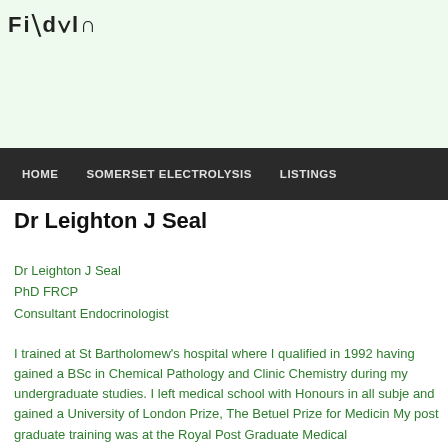Findolo
HOME   SOMERSET ELECTROLYSIS   LISTINGS
Dr Leighton J Seal
Dr Leighton J Seal
PhD FRCP
Consultant Endocrinologist
I trained at St Bartholomew's hospital where I qualified in 1992 having gained a BSc in Chemical Pathology and Clinic Chemistry during my undergraduate studies. I left medical school with Honours in all subjects and gained a University of London Prize, The Betuel Prize for Medicine. My post graduate training was at the Royal Post Graduate Medical